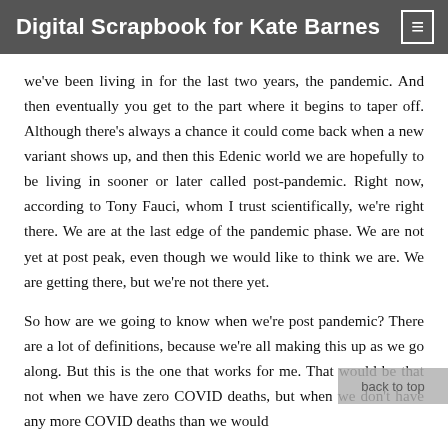Digital Scrapbook for Kate Barnes
we've been living in for the last two years, the pandemic. And then eventually you get to the part where it begins to taper off. Although there's always a chance it could come back when a new variant shows up, and then this Edenic world we are hopefully to be living in sooner or later called post-pandemic. Right now, according to Tony Fauci, whom I trust scientifically, we're right there. We are at the last edge of the pandemic phase. We are not yet at post peak, even though we would like to think we are. We are getting there, but we're not there yet.
So how are we going to know when we're post pandemic? There are a lot of definitions, because we're all making this up as we go along. But this is the one that works for me. That would be that not when we have zero COVID deaths, but when we don't have any more COVID deaths than we would